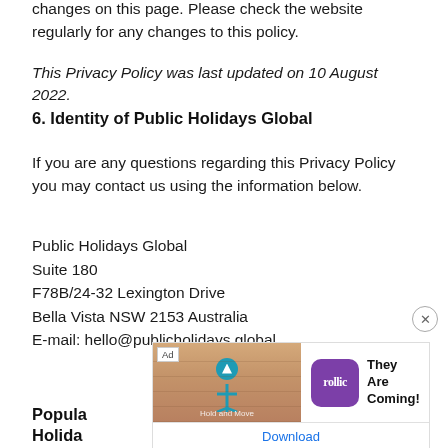changes on this page. Please check the website regularly for any changes to this policy.
This Privacy Policy was last updated on 10 August 2022.
6. Identity of Public Holidays Global
If you are any questions regarding this Privacy Policy you may contact us using the information below.
Public Holidays Global
Suite 180
F78B/24-32 Lexington Drive
Bella Vista NSW 2153 Australia
E-mail: hello@publicholidays.global
[Figure (other): Advertisement banner for a mobile game app 'They Are Coming!' by Rollic, with a Download button at the bottom.]
Popula...
Holida...